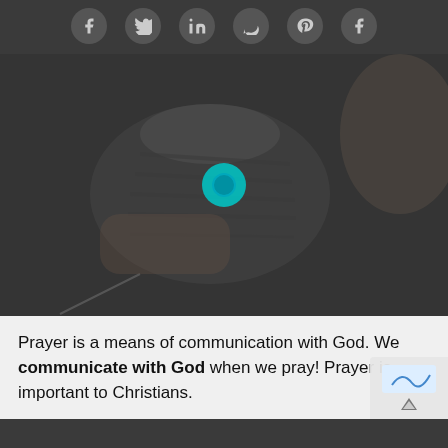[Figure (other): Row of six circular social media share icons (Facebook, Twitter, LinkedIn, WhatsApp, Pinterest, Facebook) on dark background]
[Figure (photo): Person holding a tin can telephone up to an open mouth, with a teal play button overlay in the center — dark overlay applied to the photo]
Prayer is a means of communication with God. We communicate with God when we pray! Prayer is important to Christians.